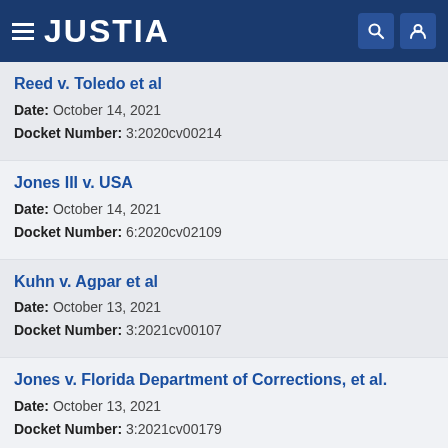JUSTIA
Reed v. Toledo et al | Date: October 14, 2021 | Docket Number: 3:2020cv00214
Jones III v. USA | Date: October 14, 2021 | Docket Number: 6:2020cv02109
Kuhn v. Agpar et al | Date: October 13, 2021 | Docket Number: 3:2021cv00107
Jones v. Florida Department of Corrections, et al. | Date: October 13, 2021 | Docket Number: 3:2021cv00179